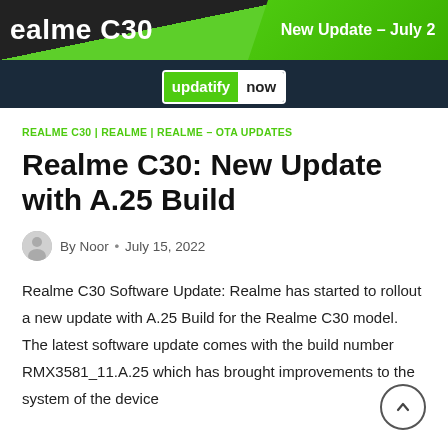[Figure (screenshot): Website banner for 'updatify now' showing Realme C30 article header with green gradient and dark navy background]
REALME C30 | REALME | REALME – OTA UPDATES
Realme C30: New Update with A.25 Build
By Noor • July 15, 2022
Realme C30 Software Update: Realme has started to rollout a new update with A.25 Build for the Realme C30 model. The latest software update comes with the build number RMX3581_11.A.25 which has brought improvements to the system of the device